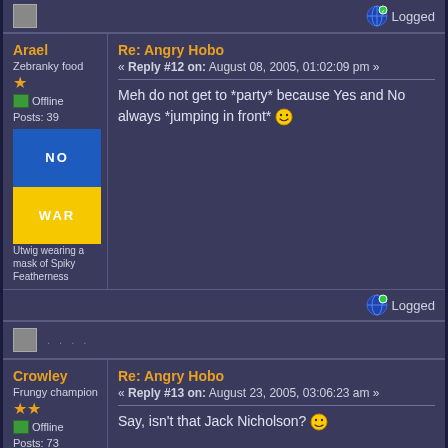Logged
Arael
Zebranky food
Offline
Posts: 39
Utwig wearing a mask of Spiky Featherness
Re: Angry Hobo
« Reply #12 on: August 08, 2005, 01:02:09 pm »
Meh do not get to *party* because Yes and No always *jumping in front*
Logged
. . . .
Crowley
Frungy champion
Offline
Posts: 73
Re: Angry Hobo
« Reply #13 on: August 23, 2005, 03:06:23 am »
Say, isn't that Jack Nicholson?
Logged